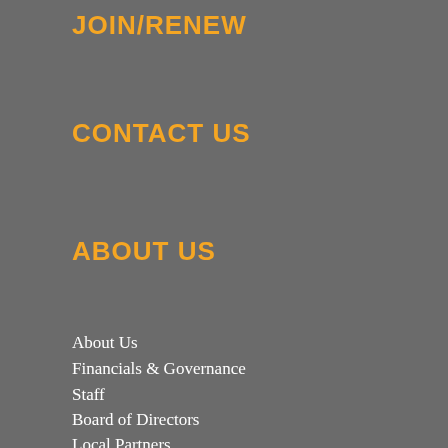JOIN/RENEW
CONTACT US
ABOUT US
About Us
Financials & Governance
Staff
Board of Directors
Local Partners
State and National Allies
Careers
Volunteer
Contact Us
WHAT WE DO
Current Projects and Campaigns
Past Campaigns and Projects